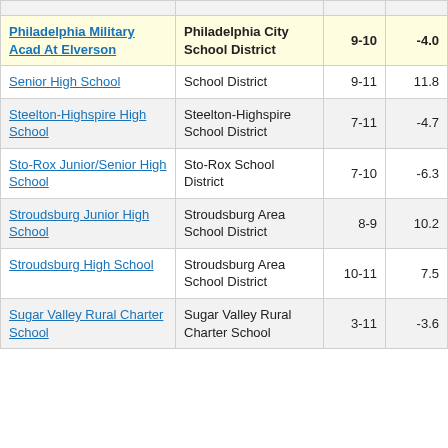| School | District | Grades | Score |  |
| --- | --- | --- | --- | --- |
| Philadelphia Military Acad At Elverson | Philadelphia City School District | 9-10 | -4.0 | 3 |
| Senior High School | School District | 9-11 | 11.8 |  |
| Steelton-Highspire High School | Steelton-Highspire School District | 7-11 | -4.7 |  |
| Sto-Rox Junior/Senior High School | Sto-Rox School District | 7-10 | -6.3 |  |
| Stroudsburg Junior High School | Stroudsburg Area School District | 8-9 | 10.2 |  |
| Stroudsburg High School | Stroudsburg Area School District | 10-11 | 7.5 |  |
| Sugar Valley Rural Charter School | Sugar Valley Rural Charter School | 3-11 | -3.6 |  |